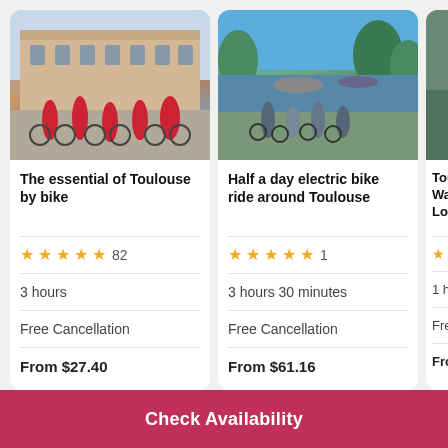[Figure (photo): Group of cyclists wearing red vests and helmets standing with bikes in front of a grand classical building (Toulouse city hall / Capitole)]
The essential of Toulouse by bike
★★★★★ 82
3 hours
Free Cancellation
From $27.40
[Figure (photo): Group of cyclists standing with electric bikes by a canal in Toulouse on a sunny day with trees and boats in the background]
Half a day electric bike ride around Toulouse
★★★★★ 1
3 hours 30 minutes
Free Cancellation
From $61.16
[Figure (photo): Partial view of a third tour card showing a person walking, green/teal toned background]
Toul Walk Loca
★★
1 hou
Free
From
Check Availability